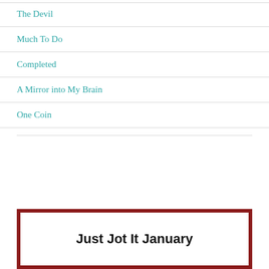The Devil
Much To Do
Completed
A Mirror into My Brain
One Coin
[Figure (other): Promotional banner with dark red border containing bold text 'Just Jot It January']